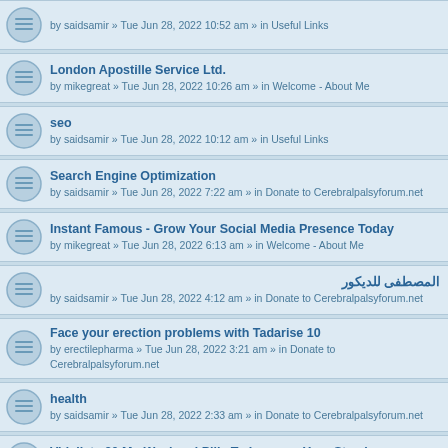by saidsamir » Tue Jun 28, 2022 10:52 am » in Useful Links
London Apostille Service Ltd. by mikegreat » Tue Jun 28, 2022 10:26 am » in Welcome - About Me
seo by saidsamir » Tue Jun 28, 2022 10:12 am » in Useful Links
Search Engine Optimization by saidsamir » Tue Jun 28, 2022 7:22 am » in Donate to Cerebralpalsyforum.net
Instant Famous - Grow Your Social Media Presence Today by mikegreat » Tue Jun 28, 2022 6:13 am » in Welcome - About Me
المصطفى للديكور by saidsamir » Tue Jun 28, 2022 4:12 am » in Donate to Cerebralpalsyforum.net
Face your erection problems with Tadarise 10 by erectilepharma » Tue Jun 28, 2022 3:21 am » in Donate to Cerebralpalsyforum.net
health by saidsamir » Tue Jun 28, 2022 2:33 am » in Donate to Cerebralpalsyforum.net
Vidalista 20 Mg Weekend Pills To Increase Your Stamina by strapcart_online » Tue Jun 28, 2022 12:21 am » in Mobility Tools
Iris Driving School Rochester Kent - Automatic Driving Lessons by mikegreat » Tue Jun 28, 2022 12:08 am » in Welcome - About Me
Meet People by essentia231 » Mon Jun 27, 2022 11:48 pm » in Welcome - About Me